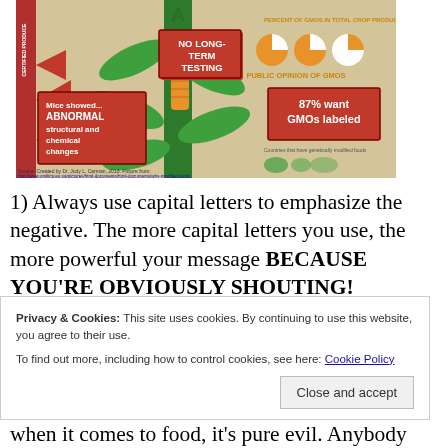[Figure (infographic): GMO-related infographic showing a corn stalk, red warning boxes reading 'NO LONG-TERM TESTING', 'Mice showed... ABNORMAL structural and chemical changes', '87% want GMOs labeled', pie charts labeled 'PUBLIC OPINION OF GMOS', and source text from Dr. Judy L. Carman, 2013.]
1) Always use capital letters to emphasize the negative. The more capital letters you use, the more powerful your message BECAUSE YOU'RE OBVIOUSLY SHOUTING! Everybody knows that shrieking like a hyena on acid gets
Privacy & Cookies: This site uses cookies. By continuing to use this website, you agree to their use.
To find out more, including how to control cookies, see here: Cookie Policy
when it comes to food, it's pure evil. Anybody who has a